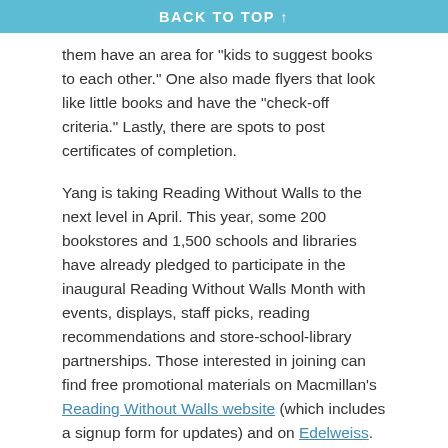BACK TO TOP ↑
them have an area for "kids to suggest books to each other." One also made flyers that look like little books and have the "check-off criteria." Lastly, there are spots to post certificates of completion.
Yang is taking Reading Without Walls to the next level in April. This year, some 200 bookstores and 1,500 schools and libraries have already pledged to participate in the inaugural Reading Without Walls Month with events, displays, staff picks, reading recommendations and store-school-library partnerships. Those interested in joining can find free promotional materials on Macmillan's Reading Without Walls website (which includes a signup form for updates) and on Edelweiss. The material include posters, a reading list created by Yang and certificates of completion that the sponsors have put together.
Yang will promote his reading challenge across the Northeast United States and Canada during the first week of April, with the following schedule:
April 1: The Museum of Comics and Cartoon Art Festival, New...